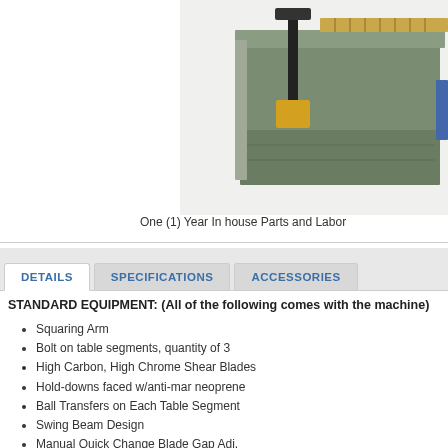[Figure (photo): Industrial metal shearing machine photographed from the side, showing the machine table, hold-downs, and squaring arm components. Machine has a green/grey color scheme.]
One (1) Year In house Parts and Labor
DETAILS | SPECIFICATIONS | ACCESSORIES
STANDARD EQUIPMENT: (All of the following comes with the machine)
Squaring Arm
Bolt on table segments, quantity of 3
High Carbon, High Chrome Shear Blades
Hold-downs faced w/anti-mar neoprene
Ball Transfers on Each Table Segment
Swing Beam Design
Manual Quick Change Blade Gap Adj.
Pressure Sensing Hold Downs
Squaring Arm with blade integrated...